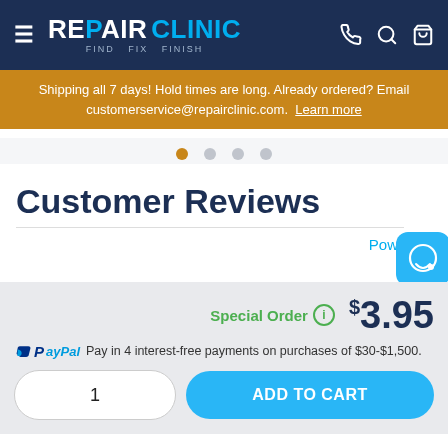RepairClinic — Find. Fix. Finish.
Shipping all 7 days! Hold times are long. Already ordered? Email customerservice@repairclinic.com. Learn more
Customer Reviews
Powered
Special Order  $3.95
PayPal  Pay in 4 interest-free payments on purchases of $30-$1,500.
1
ADD TO CART